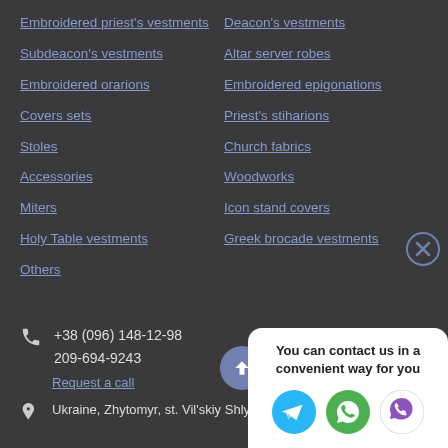Embroidered priest's vestments
Deacon's vestments
Subdeacon's vestments
Altar server robes
Embroidered orarions
Embroidered epigonations
Covers sets
Priest's stiharions
Stoles
Church fabrics
Accessories
Woodworks
Miters
Icon stand covers
Holy Table vestments
Greek brocade vestments
Others
+38 (096) 148-12-98
209-694-9243
Request a call
Ukraine, Zhytomyr, st. Vil'skiy Shlyak
You can contact us in a convenient way for you